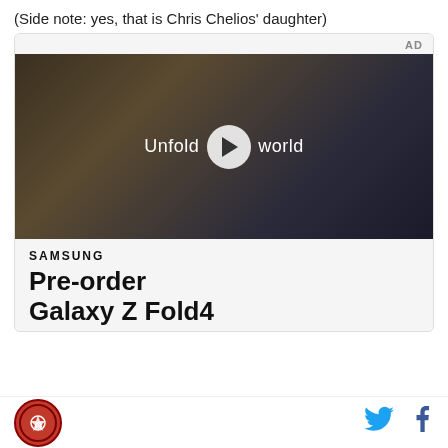(Side note: yes, that is Chris Chelios' daughter)
[Figure (screenshot): Advertisement screenshot showing a Samsung video ad with text 'Unfold your world' and a play button overlay, followed by Samsung branding and 'Pre-order Galaxy Z Fold4' text below the video thumbnail.]
[Figure (logo): Website logo (circular red badge with emblem) in the bottom left corner, with Twitter and Facebook social icons on the bottom right.]